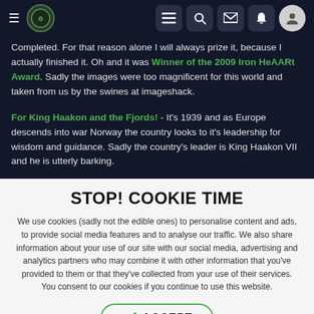Navigation bar with hamburger menu, logo, and icons
Completed. For that reason alone I will always prize it, because I actually finished it. Oh and it was Winner of the 2009 Iron HeAARt Award. Sadly the images were too magnificent for this world and taken from us by the swines at imageshack.
For King Haakon and the Fjords! - It's 1939 and as Europe descends into war Norway the country looks to it's leadership for wisdom and guidance. Sadly the country's leader is King Haakon VII and he is utterly barking.
STOP! COOKIE TIME
We use cookies (sadly not the edible ones) to personalise content and ads, to provide social media features and to analyse our traffic. We also share information about your use of our site with our social media, advertising and analytics partners who may combine it with other information that you've provided to them or that they've collected from your use of their services. You consent to our cookies if you continue to use this website.
✓ ACCEPT